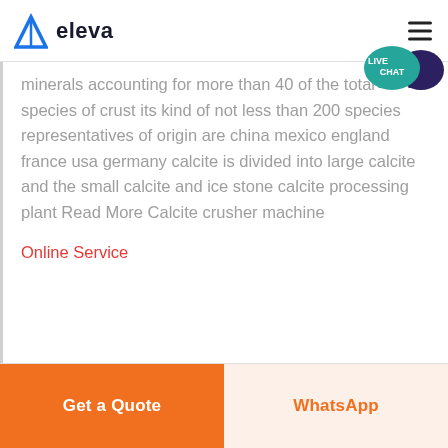eleva
minerals accounting for more than 40 of the total species of crust its kind of not less than 200 species representatives of origin are china mexico england france usa germany calcite is divided into large calcite and the small calcite and ice stone calcite processing plant Read More Calcite crusher machine
Online Service
Get a Quote | WhatsApp